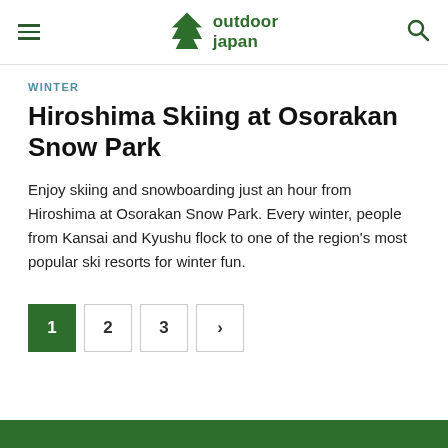outdoor japan
WINTER
Hiroshima Skiing at Osorakan Snow Park
Enjoy skiing and snowboarding just an hour from Hiroshima at Osorakan Snow Park. Every winter, people from Kansai and Kyushu flock to one of the region's most popular ski resorts for winter fun.